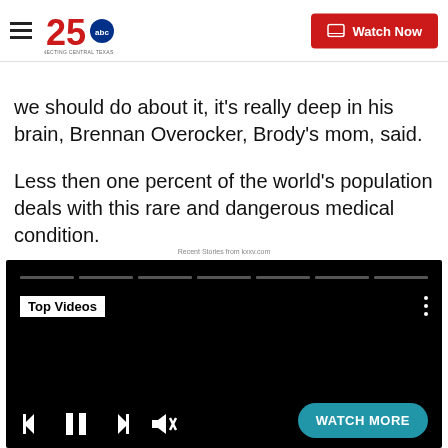25 ABC — Connecting Central Texas | Watch Now
we should do about it, it's really deep in his brain, Brennan Overocker, Brody's mom, said.
Less then one percent of the world's population deals with this rare and dangerous medical condition.
Recent Stories from kxxv.com
[Figure (screenshot): Video player with Top Videos label, progress bars, media controls (skip back, pause, skip forward, mute), and Watch More button on dark background]